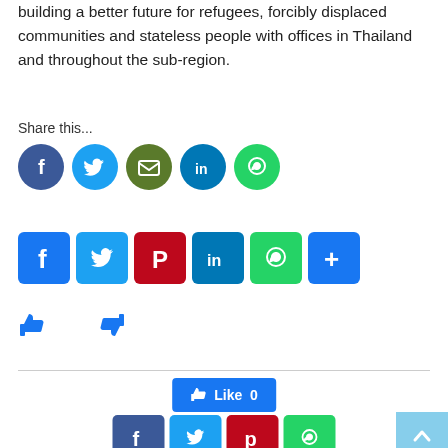building a better future for refugees, forcibly displaced communities and stateless people with offices in Thailand and throughout the sub-region.
Share this...
[Figure (infographic): Row of five social media share buttons as circles: Facebook (dark blue), Twitter (light blue), Email (olive/green), LinkedIn (blue), WhatsApp (green)]
[Figure (infographic): Row of six social share square buttons: Facebook (blue), Twitter (blue), Pinterest (dark red), LinkedIn (blue), WhatsApp (green), More/Plus (blue)]
[Figure (infographic): Thumbs up and thumbs down icons in blue]
[Figure (infographic): Facebook Like button showing 'Like 0']
[Figure (infographic): Row of four square share buttons at bottom: Facebook (dark blue), Twitter (cyan), Pinterest (red), WhatsApp (green)]
[Figure (infographic): Back-to-top button (light blue with upward chevron)]